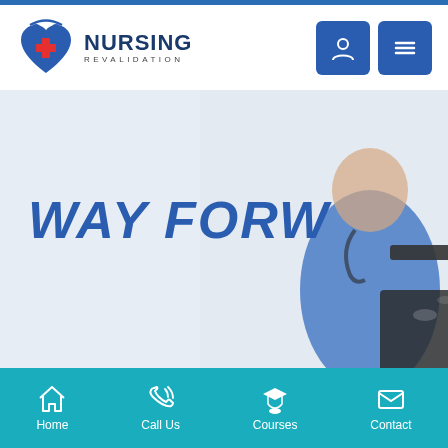[Figure (logo): Nursing Revalidation logo with heart/shield icon and two figures, with red cross]
[Figure (screenshot): Website screenshot showing Nursing Revalidation mobile site with hero image of nurse holding clipboard and text WAY FORW... partially visible, teal bottom navigation bar with Home, Call Us, Courses, Contact icons]